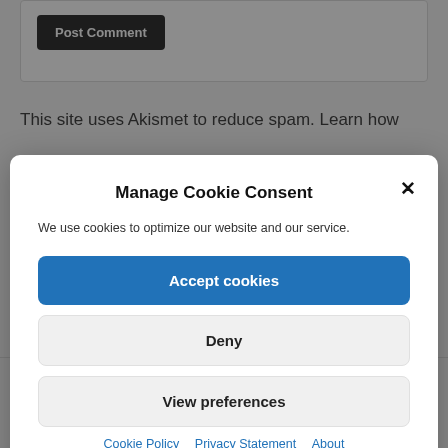[Figure (screenshot): Background webpage showing a Post Comment button and partial text 'This site uses Akismet to reduce spam. Learn how']
Manage Cookie Consent
We use cookies to optimize our website and our service.
Accept cookies
Deny
View preferences
Cookie Policy   Privacy Statement   About
Close and accept